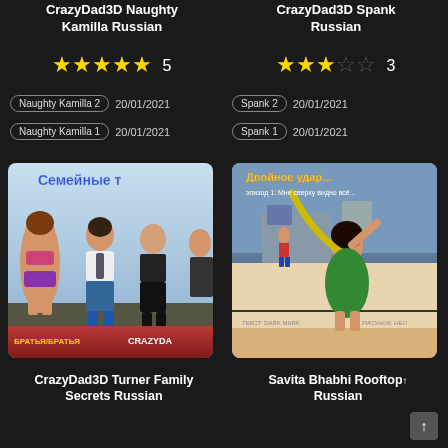CrazyDad3D Naughty Kamilla Russian
★★★★★ 5
Naughty Kamilla 2   20/01/2021
Naughty Kamilla 1   20/01/2021
CrazyDad3D Spank Russian
★★★☆☆ 3
Spank 2   20/01/2021
Spank 1   20/01/2021
[Figure (illustration): 3D rendered comic book cover in Russian - Семейные тайны (Family Secrets) featuring CrazyDad3D characters]
[Figure (illustration): Illustrated comic book cover in Russian - Savita Bhabhi Rooftops Russian]
CrazyDad3D Turner Family Secrets Russian
Savita Bhabhi Rooftops Russian